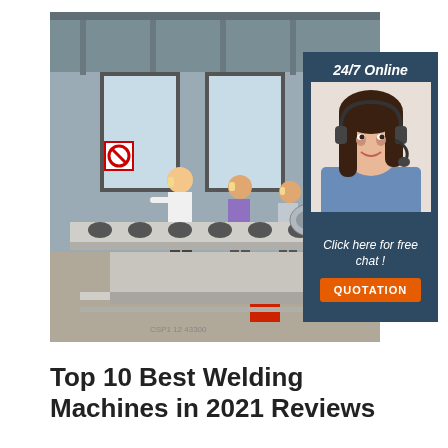[Figure (photo): Factory/industrial setting with workers in yellow hard hats inspecting machinery and pipe rollers on a production floor. An overlaid advertisement box on the right side shows '24/7 Online' text, a female customer service agent wearing a headset, 'Click here for free chat!' text, and an orange 'QUOTATION' button.]
Top 10 Best Welding Machines in 2021 Reviews